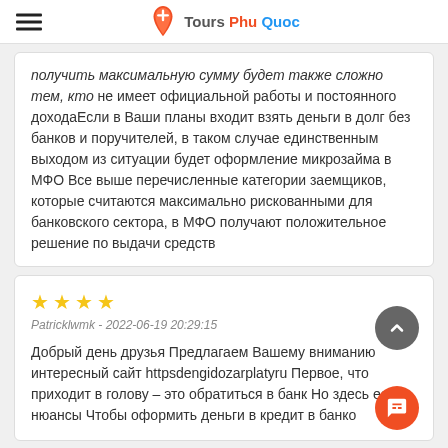Tours Phu Quoc
получить максимальную сумму будет также сложно тем, кто не имеет официальной работы и постоянного доходаЕсли в Ваши планы входит взять деньги в долг без банков и поручителей, в таком случае единственным выходом из ситуации будет оформление микрозайма в МФО Все выше перечисленные категории заемщиков, которые считаются максимально рискованными для банковского сектора, в МФО получают положительное решение по выдачи средств
★★★★
Patricklwmk - 2022-06-19 20:29:15
Добрый день друзья Предлагаем Вашему вниманию интересный сайт httpsdengidozarplatyru Первое, что приходит в голову – это обратиться в банк Но здесь есть нюансы Чтобы оформить деньги в кредит в банко